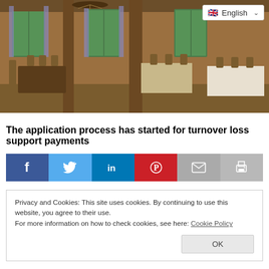[Figure (photo): Interior of a traditional restaurant/beer hall with wooden furniture, chairs, tables, and large windows with green trees visible outside. A language selector dropdown showing 'English' with a UK flag is visible in the top right corner.]
The application process has started for turnover loss support payments
[Figure (infographic): Social media share buttons in a row: Facebook (blue, f), Twitter (light blue, bird), LinkedIn (darker blue, in), Pinterest (red, Pinterest logo), Email (grey, envelope), Print (grey, printer icon)]
Privacy and Cookies: This site uses cookies. By continuing to use this website, you agree to their use.
For more information on how to check cookies, see here: Cookie Policy